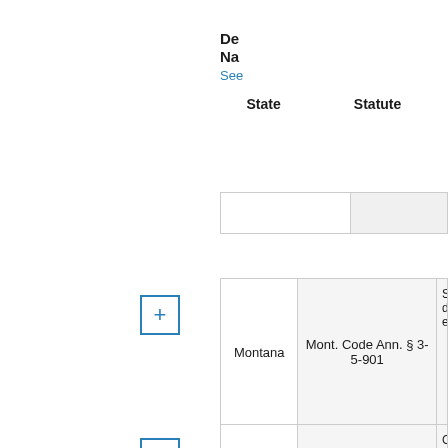| State | Statute | De... Na... See... |
| --- | --- | --- |
| Montana | Mont. Code Ann. § 3-5-901 | St... di... ex... |
| Montana | Mont. Code Ann. § 3-11-101 | Ci... es... co... |